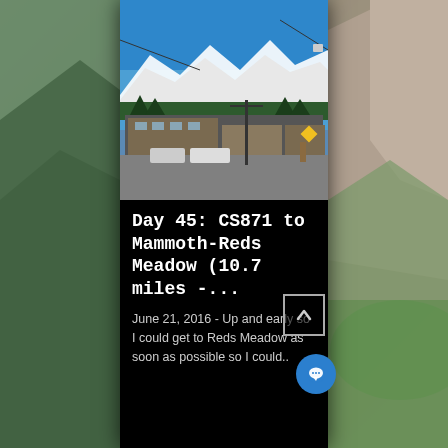[Figure (photo): Photograph of a mountain resort village with snow-capped mountains in background, ski lifts visible, buildings in foreground, clear blue sky. Taken at Mammoth Mountain / Reds Meadow area.]
Day 45: CS871 to Mammoth-Reds Meadow (10.7 miles -...
June 21, 2016 - Up and early so I could get to Reds Meadow as soon as possible so I could..